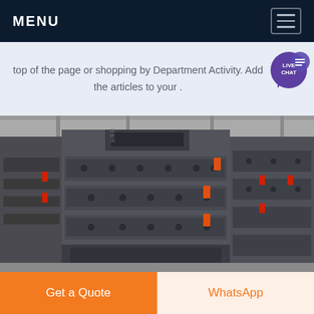MENU
top of the page or shopping by Department Activity. Add the articles to your .
[Figure (photo): Industrial machinery (impact crushers / heavy mining equipment) inside a factory warehouse. Multiple large grey metal machines visible, with red and orange accent components.]
Get a Quote
WhatsApp